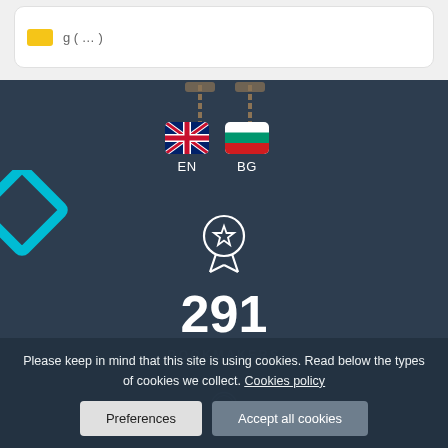[Figure (screenshot): Top card stub with yellow badge and partial text visible]
[Figure (illustration): Dark teal background section with language selector showing EN (UK flag) and BG (Bulgarian flag), chains decoration above, teal diamond decoration on left, award/medal icon, stat number 291 BOOKMAKERS, partial coin icon at bottom]
Please keep in mind that this site is using cookies. Read below the types of cookies we collect. Cookies policy
Preferences
Accept all cookies